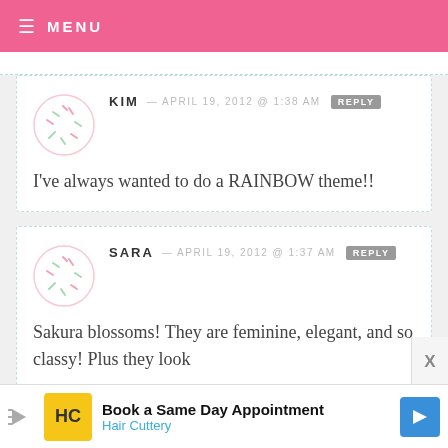MENU
KIM — APRIL 19, 2012 @ 1:38 AM   REPLY
I've always wanted to do a RAINBOW theme!!
SARA — APRIL 19, 2012 @ 1:37 AM   REPLY
Sakura blossoms! They are feminine, elegant, and so classy! Plus they look
Book a Same Day Appointment
Hair Cuttery